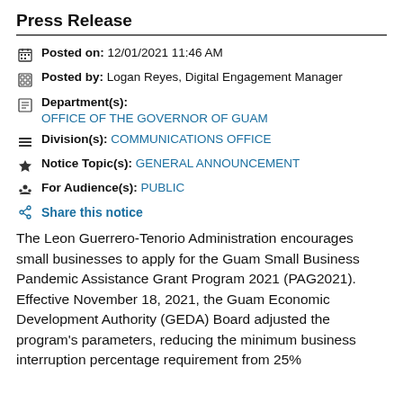Press Release
Posted on: 12/01/2021 11:46 AM
Posted by: Logan Reyes, Digital Engagement Manager
Department(s): OFFICE OF THE GOVERNOR OF GUAM
Division(s): COMMUNICATIONS OFFICE
Notice Topic(s): GENERAL ANNOUNCEMENT
For Audience(s): PUBLIC
Share this notice
The Leon Guerrero-Tenorio Administration encourages small businesses to apply for the Guam Small Business Pandemic Assistance Grant Program 2021 (PAG2021). Effective November 18, 2021, the Guam Economic Development Authority (GEDA) Board adjusted the program's parameters, reducing the minimum business interruption percentage requirement from 25%